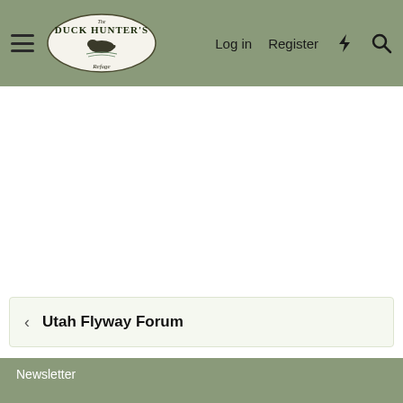Duck Hunter's Refuge — Log in | Register
Utah Flyway Forum
Newsletter
Contact us